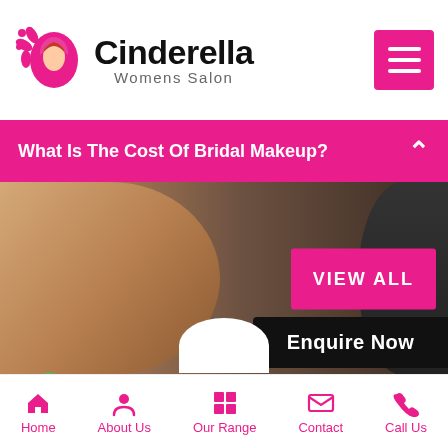[Figure (logo): Cinderella Womens Salon logo with pink flower and face silhouette icon]
Cinderella
Womens Salon
[Figure (other): Pink hamburger menu button top right]
What Is The Cost Of Bridal Makeup?
[Figure (photo): Background photo of woman face/profile, dark/muted tones]
VIEW ALL
Cinderella Women Salon Established Since 2018
[Figure (other): WhatsApp green circular button]
Enquire Now
-7980003609  Or
Enquire Now
Home  About Us  Our Range  Contact  Call Us